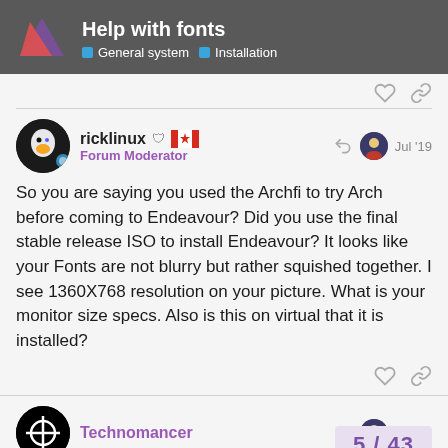Help with fonts — General system · Installation
ricklinux — Forum Moderator — Jul '19
So you are saying you used the Archfi to try Arch before coming to Endeavour? Did you use the final stable release ISO to install Endeavour? It looks like your Fonts are not blurry but rather squished together. I see 1360X768 resolution on your picture. What is your monitor size specs. Also is this on virtual that it is installed?
Technomancer — Jul '19
5 / 43